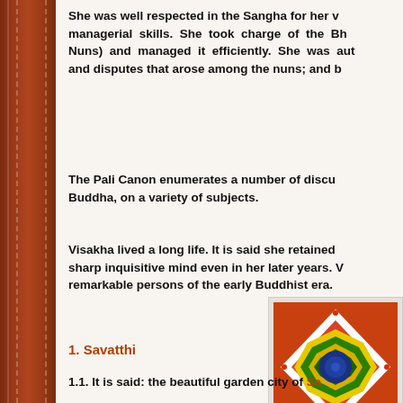She was well respected in the Sangha for her managerial skills. She took charge of the Bhikkhunis (Nuns) and managed it efficiently. She was authorised to settle and disputes that arose among the nuns; and b
The Pali Canon enumerates a number of discourses with the Buddha, on a variety of subjects.
Visakha lived a long life. It is said she retained a sharp inquisitive mind even in her later years. Visakha is one of the remarkable persons of the early Buddhist era.
[Figure (illustration): A colorful mandala illustration with concentric geometric star patterns in red, yellow, green, and blue on an orange-red background with a white diamond shape.]
1. Savatthi
1.1. It is said: the beautiful garden city of Sa...